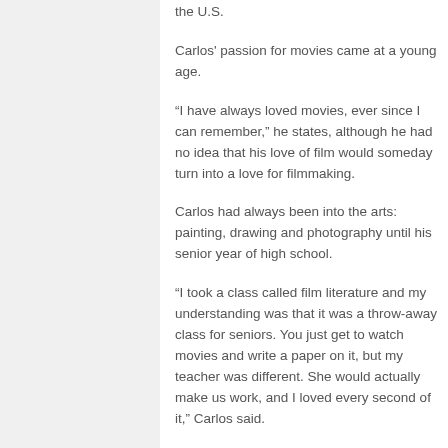the U.S.
Carlos' passion for movies came at a young age.
“I have always loved movies, ever since I can remember,” he states, although he had no idea that his love of film would someday turn into a love for filmmaking.
Carlos had always been into the arts: painting, drawing and photography until his senior year of high school.
“I took a class called film literature and my understanding was that it was a throw-away class for seniors. You just get to watch movies and write a paper on it, but my teacher was different. She would actually make us work, and I loved every second of it,” Carlos said.